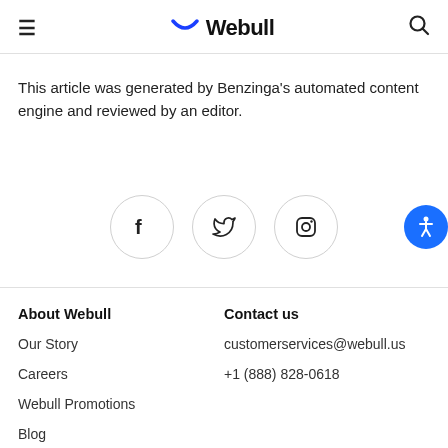Webull
This article was generated by Benzinga's automated content engine and reviewed by an editor.
[Figure (other): Social media icon buttons: Facebook, Twitter, Instagram circles; accessibility button (blue circle with person icon)]
About Webull
Our Story
Careers
Webull Promotions
Blog
Contact us
customerservices@webull.us
+1 (888) 828-0618